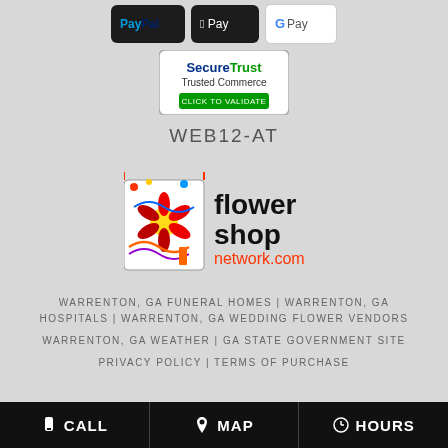[Figure (logo): Payment method logos: PayPal, Apple Pay, Google Pay]
[Figure (logo): SecureTrust Trusted Commerce - Click to Validate badge]
WEB12-AT
[Figure (logo): Flower Shop Network .com logo]
WARRENTON, GA FUNERAL HOMES | WARRENTON, GA HOSPITALS | WARRENTON, GA WEDDING FLOWER VENDORS WARRENTON, GA WEATHER | GA STATE GOVERNMENT SITE PRIVACY POLICY | TERMS OF PURCHASE
CALL  MAP  HOURS